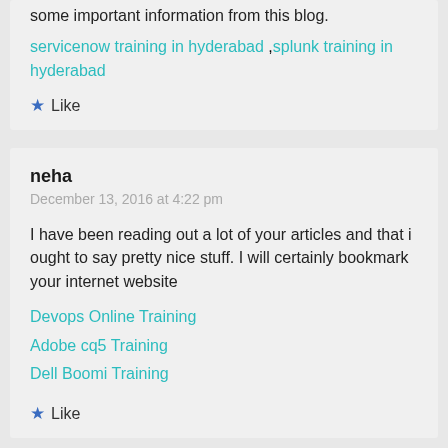some important information from this blog. servicenow training in hyderabad ,splunk training in hyderabad
Like
neha
December 13, 2016 at 4:22 pm
I have been reading out a lot of your articles and that i ought to say pretty nice stuff. I will certainly bookmark your internet website
Devops Online Training
Adobe cq5 Training
Dell Boomi Training
Like